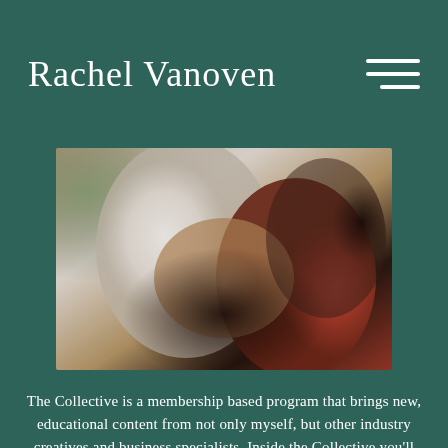Rachel Vanoven
[Figure (photo): Close-up photograph of a couple embracing. A person in a white button-up shirt with brown suspenders is being held by another person wearing a rust/terracotta colored top with dark curly hair. Their hands are interlaced showing rings. Warm outdoor lighting with bokeh green background.]
The Collective is a membership based program that brings new, educational content from not only myself, but other industry creatives and business specialists. Inside the Collective you'll find hours of video that will help grow your